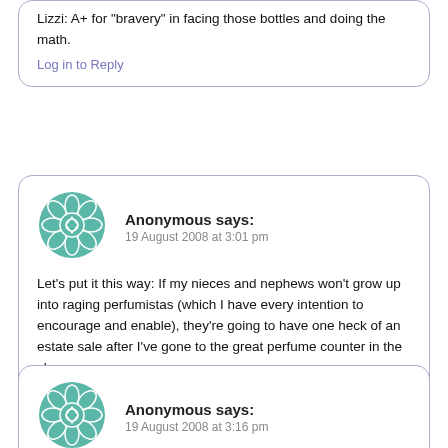Lizzi: A+ for 'bravery' in facing those bottles and doing the math.
Log in to Reply
Anonymous says:
19 August 2008 at 3:01 pm
Let's put it this way: If my nieces and nephews won't grow up into raging perfumistas (which I have every intention to encourage and enable), they're going to have one heck of an estate sale after I've gone to the great perfume counter in the sky.
Log in to Reply
Anonymous says:
19 August 2008 at 3:16 pm